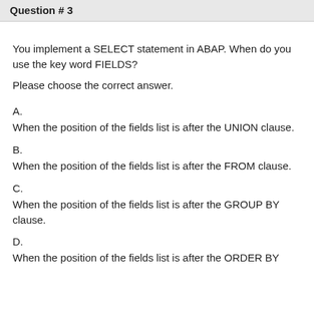Question # 3
You implement a SELECT statement in ABAP. When do you use the key word FIELDS?
Please choose the correct answer.
A.
When the position of the fields list is after the UNION clause.
B.
When the position of the fields list is after the FROM clause.
C.
When the position of the fields list is after the GROUP BY clause.
D.
When the position of the fields list is after the ORDER BY